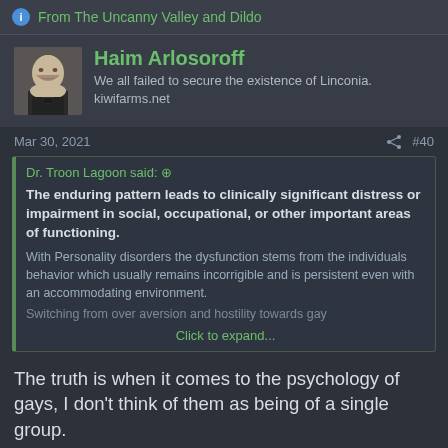From The Uncanny Valley and Dildo
Haim Arlosoroff
We all failed to secure the existence of Linconia.
kiwifarms.net
Mar 30, 2021  #40
Dr. Troon Lagoon said:
The enduring pattern leads to clinically significant distress or impairment in social, occupational, or other important areas of functioning.
With Personality disorders the dysfunction stems from the individuals behavior which usually remains incorrigible and is persistent even with an accommodating environment.
Switching from over aversion and hostility towards gay
Click to expand...
The truth is when it comes to the psychology of gays, I don't think of them as being of a single group.
There is absolutely, and you will never convince me